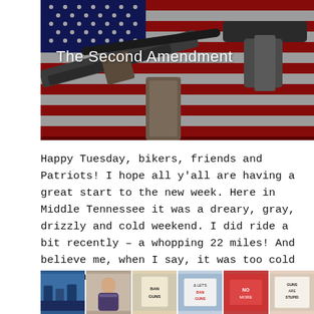[Figure (photo): Firearms (rifles and pistols) laid on an American flag background with text 'The Second Amendment' overlaid in white]
Happy Tuesday, bikers, friends and Patriots! I hope all y'all are having a great start to the new week. Here in Middle Tennessee it was a dreary, gray, drizzly and cold weekend. I did ride a bit recently – a whopping 22 miles! And believe me, when I say, it was too cold to do much more!
[Figure (photo): A row of small thumbnail photos showing scenes related to gun control protests and debates]